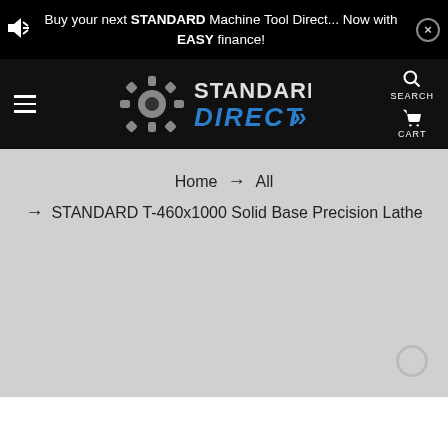Buy your next STANDARD Machine Tool Direct... Now with EASY finance!
[Figure (logo): Standard Direct logo with gear icon and blue DIRECT text]
Home → All → STANDARD T-460x1000 Solid Base Precision Lathe